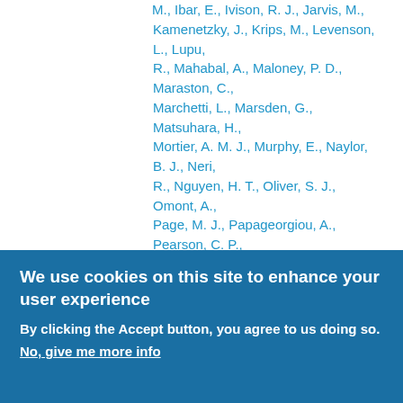M., Ibar, E., Ivison, R. J., Jarvis, M., Kamenetzky, J., Krips, M., Levenson, L., Lupu, R., Mahabal, A., Maloney, P. D., Maraston, C., Marchetti, L., Marsden, G., Matsuhara, H., Mortier, A. M. J., Murphy, E., Naylor, B. J., Neri, R., Nguyen, H. T., Oliver, S. J., Omont, A., Page, M. J., Papageorgiou, A., Pearson, C. P., Perez-Fournon, I., Pohlen, M., Rangwala, N., Rawlings, J. I., Raymond, G., Riechers, D., Rodighiero, G., Roseboom, I. G., Rowan-Robinson, M., Schulz, B., Scott, D., Scott, K., Serra, P., Seymour, N., Shupe, D. L., Smith, A. J., Symeonidis, M., Tugwell, K. E., Vaccari, M., Valiante, E., Valtchanov, I., Verma, A., Viero, M. P., Vigroux, L., Wang, L., Wiebe, D., Wright, G., Xu, C. K., Zeimann, G., Zemcov, M., et Zmuidzinas, J., Astrophysical Journal Letters, vol. 733, 2011.
We use cookies on this site to enhance your user experience
By clicking the Accept button, you agree to us doing so.
No, give me more info